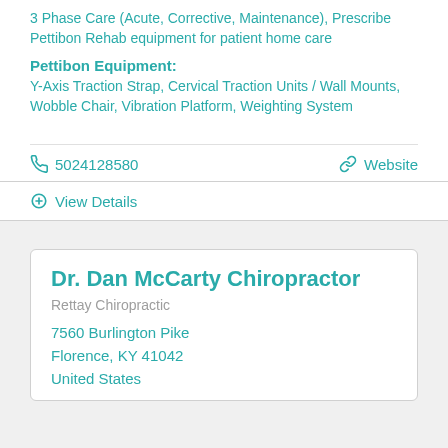3 Phase Care (Acute, Corrective, Maintenance), Prescribe Pettibon Rehab equipment for patient home care
Pettibon Equipment:
Y-Axis Traction Strap, Cervical Traction Units / Wall Mounts, Wobble Chair, Vibration Platform, Weighting System
☎ 5024128580   🔗 Website
⊕ View Details
Dr. Dan McCarty Chiropractor
Rettay Chiropractic
7560 Burlington Pike
Florence, KY 41042
United States